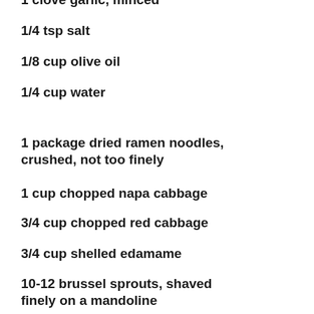1/4 tsp salt
1/8 cup olive oil
1/4 cup water
1 package dried ramen noodles, crushed, not too finely
1 cup chopped napa cabbage
3/4 cup chopped red cabbage
3/4 cup shelled edamame
10-12 brussel sprouts, shaved finely on a mandoline
2 kirby cucumbers, julienned
3 radishes, julienned
1 scallion, sliced finely
1/4 cup slivered almonds